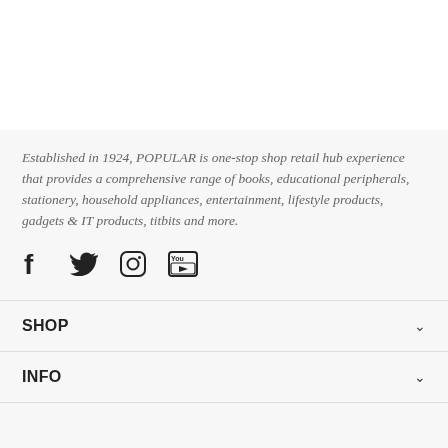Established in 1924, POPULAR is one-stop shop retail hub experience that provides a comprehensive range of books, educational peripherals, stationery, household appliances, entertainment, lifestyle products, gadgets & IT products, titbits and more.
[Figure (illustration): Social media icons: Facebook, Twitter, Instagram, YouTube]
SHOP
INFO